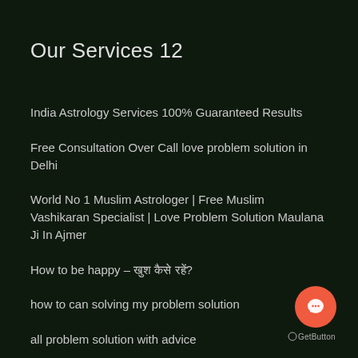Our Services 12
India Astrology Services 100% Guaranteed Results
Free Consultation Over Call love problem solution in Delhi
World No 1 Muslim Astrologer | Free Muslim Vashikaran Specialist | Love Problem Solution Maulana Ji In Ajmer
How to be happy – खुश कैसे रहें?
how to can solving my problem solution
all problem solution with advice
How do we solve our problem ourselves?
[Figure (other): GetButton chat widget with coral/red circular button containing a speech bubble icon and 'GetButton' label below]